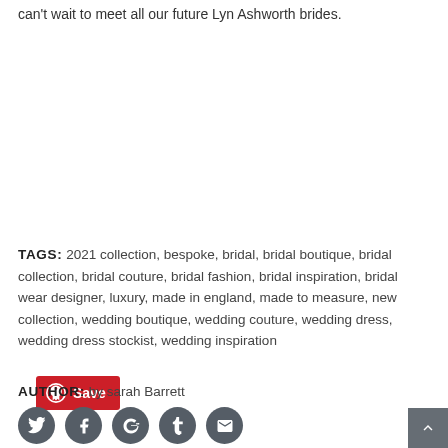can't wait to meet all our future Lyn Ashworth brides.
[Figure (other): Pinterest Save button (red rounded rectangle with Pinterest logo and Save label)]
TAGS: 2021 collection, bespoke, bridal, bridal boutique, bridal collection, bridal couture, bridal fashion, bridal inspiration, bridal wear designer, luxury, made in england, made to measure, new collection, wedding boutique, wedding couture, wedding dress, wedding dress stockist, wedding inspiration
AUTHOR: by sarah Barrett
[Figure (other): Social media icon buttons: Twitter, Facebook, Google+, Tumblr, Email — dark grey circles with white icons]
[Figure (other): Back to top button — dark grey square with upward chevron]